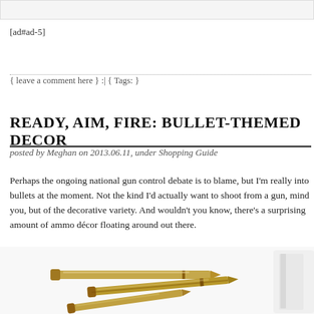[ad#ad-5]
{ leave a comment here } :| { Tags: }
READY, AIM, FIRE: BULLET-THEMED DECOR
posted by Meghan on 2013.06.11, under Shopping Guide
Perhaps the ongoing national gun control debate is to blame, but I’m really into bullets at the moment. Not the kind I’d actually want to shoot from a gun, mind you, but of the decorative variety. And wouldn’t you know, there’s a surprising amount of ammo décor floating around out there.
[Figure (photo): Photo of bullet-shaped pens and decorative items on a white background]